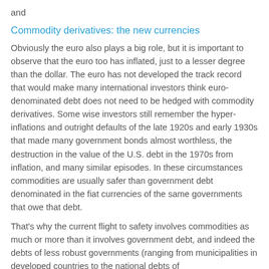and
Commodity derivatives: the new currencies
Obviously the euro also plays a big role, but it is important to observe that the euro too has inflated, just to a lesser degree than the dollar. The euro has not developed the track record that would make many international investors think euro-denominated debt does not need to be hedged with commodity derivatives. Some wise investors still remember the hyper-inflations and outright defaults of the late 1920s and early 1930s that made many government bonds almost worthless, the destruction in the value of the U.S. debt in the 1970s from inflation, and many similar episodes. In these circumstances commodities are usually safer than government debt denominated in the fiat currencies of the same governments that owe that debt.
That's why the current flight to safety involves commodities as much or more than it involves government debt, and indeed the debts of less robust governments (ranging from municipalities in developed countries to the national debts of